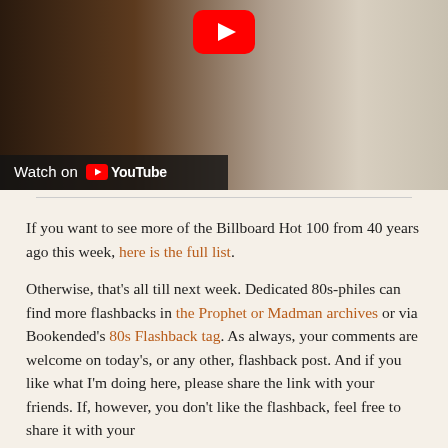[Figure (screenshot): YouTube video thumbnail showing people in a setting, with a YouTube play button at the top center and a 'Watch on YouTube' bar at the bottom left.]
If you want to see more of the Billboard Hot 100 from 40 years ago this week, here is the full list.
Otherwise, that's all till next week. Dedicated 80s-philes can find more flashbacks in the Prophet or Madman archives or via Bookended's 80s Flashback tag. As always, your comments are welcome on today's, or any other, flashback post. And if you like what I'm doing here, please share the link with your friends. If, however, you don't like the flashback, feel free to share it with your